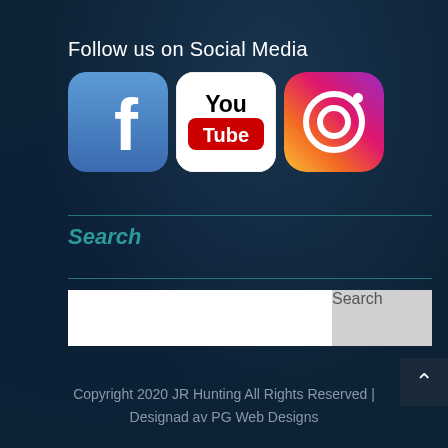Follow us on Social Media
[Figure (logo): Facebook, YouTube, and Instagram social media icons side by side]
Search
[Figure (screenshot): Search input box with Search button]
Copyright 2020 JR Hunting All Rights Reserved | Designad av PG Web Designs